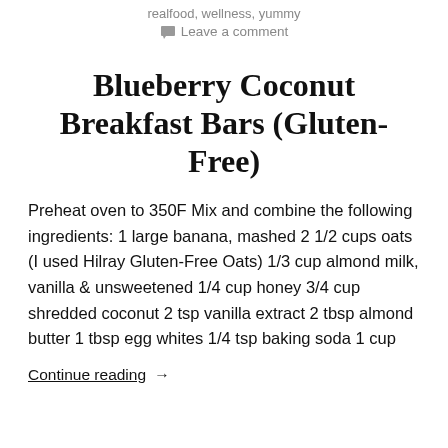realfood, wellness, yummy
Leave a comment
Blueberry Coconut Breakfast Bars (Gluten-Free)
Preheat oven to 350F Mix and combine the following ingredients: 1 large banana, mashed 2 1/2 cups oats (I used Hilray Gluten-Free Oats) 1/3 cup almond milk, vanilla & unsweetened 1/4 cup honey 3/4 cup shredded coconut 2 tsp vanilla extract 2 tbsp almond butter 1 tbsp egg whites 1/4 tsp baking soda 1 cup
Continue reading  →